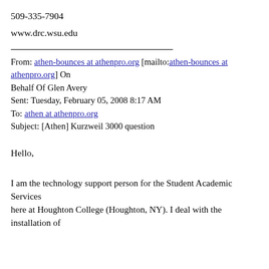509-335-7904
www.drc.wsu.edu
From: athen-bounces at athenpro.org [mailto:athen-bounces at athenpro.org] On Behalf Of Glen Avery
Sent: Tuesday, February 05, 2008 8:17 AM
To: athen at athenpro.org
Subject: [Athen] Kurzweil 3000 question
Hello,
I am the technology support person for the Student Academic Services
here at Houghton College (Houghton, NY). I deal with the installation of